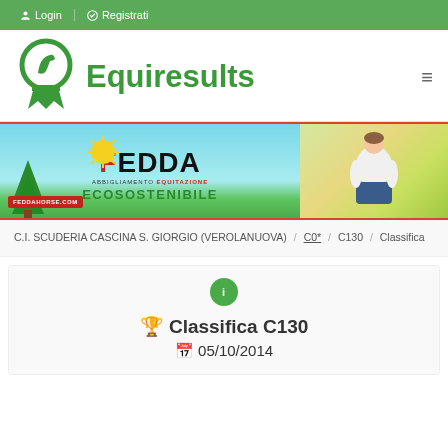Login / Registrati
[Figure (logo): Equiresults logo with green horse-head ribbon icon and green text 'Equiresults']
[Figure (photo): FEDDA ABBIGLIAMENTO EQUITAZIONE ECOSOSTENIBILE advertisement banner. Left side: light blue background with illustrated trees, sun, and grass. Right side: photo of a person sitting outdoors. FEDDAHORSE.COM badge in red bottom-left.]
C.I. SCUDERIA CASCINA S. GIORGIO (VEROLANUOVA) / C0* / C130 / Classifica
🏆 Classifica C130
📅 05/10/2014